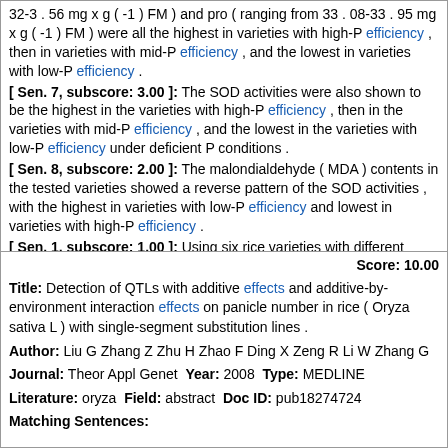32-3 . 56 mg x g ( -1 ) FM ) and pro ( ranging from 33 . 08-33 . 95 mg x g ( -1 ) FM ) were all the highest in varieties with high-P efficiency , then in varieties with mid-P efficiency , and the lowest in varieties with low-P efficiency .
[ Sen. 7, subscore: 3.00 ]: The SOD activities were also shown to be the highest in the varieties with high-P efficiency , then in the varieties with mid-P efficiency , and the lowest in the varieties with low-P efficiency under deficient P conditions .
[ Sen. 8, subscore: 2.00 ]: The malondialdehyde ( MDA ) contents in the tested varieties showed a reverse pattern of the SOD activities , with the highest in varieties with low-P efficiency and lowest in varieties with high-P efficiency .
[ Sen. 1, subscore: 1.00 ]: Using six rice varieties with different phosphorus ( P ) use efficiency as the materials , the photosynthesis and active-oxygen-scavenging enzyme activities of the rice varieties under different P conditions were studied .
[ Sen. 10, subscore: 1.00 ]: Under deficient P condition , the higher SOD activity and lower peroxidation degree of cell membrane system play important roles in improving the photosynthesis of the varieties with high-P efficiency .
Score: 10.00
Title: Detection of QTLs with additive effects and additive-by-environment interaction effects on panicle number in rice ( Oryza sativa L ) with single-segment substitution lines .
Author: Liu G Zhang Z Zhu H Zhao F Ding X Zeng R Li W Zhang G
Journal: Theor Appl Genet Year: 2008 Type: MEDLINE
Literature: oryza Field: abstract Doc ID: pub18274724
Matching Sentences: